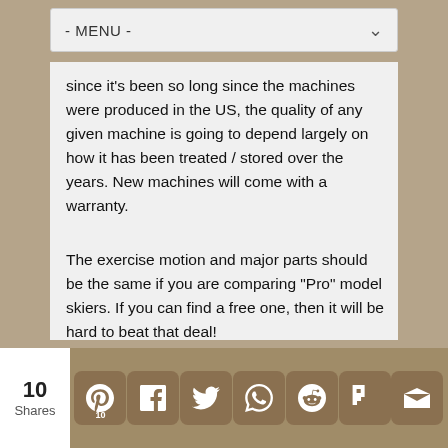- MENU -
since it's been so long since the machines were produced in the US, the quality of any given machine is going to depend largely on how it has been treated / stored over the years. New machines will come with a warranty.
The exercise motion and major parts should be the same if you are comparing "Pro" model skiers. If you can find a free one, then it will be hard to beat that deal!
Reply ↓
Robin Mazhar   August 7, 2020 at 1:26 pm
I have a Nordic Track from the 90s. I want to sell it, but I don't
10 Shares  [Pinterest 10] [Facebook] [Twitter] [WhatsApp] [Reddit] [Flipboard] [Email]